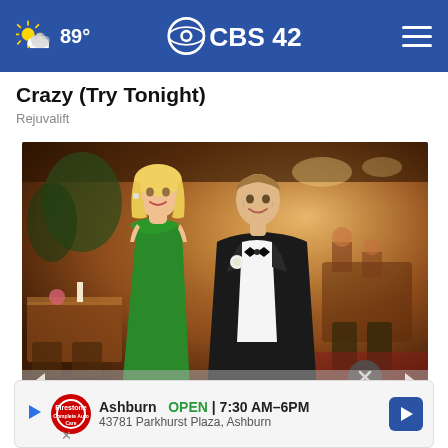89° CBS 42
Crazy (Try Tonight)
Rejuvalift
[Figure (photo): A couple dressed formally — woman in a green strapless gown and man in a black tuxedo with bow tie and white boutonniere — posing together in what appears to be a warmly lit ballroom or event venue.]
The ... e the ...
Ashburn  OPEN | 7:30 AM–6PM
43781 Parkhurst Plaza, Ashburn